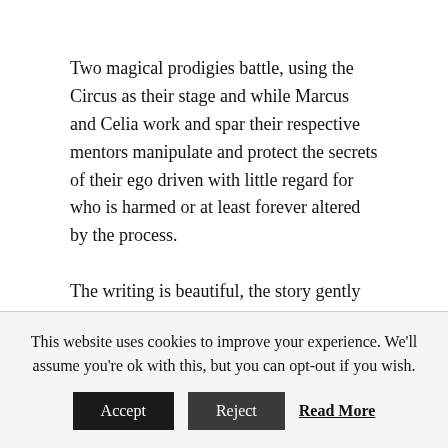Two magical prodigies battle, using the Circus as their stage and while Marcus and Celia work and spar their respective mentors manipulate and protect the secrets of their ego driven with little regard for who is harmed or at least forever altered by the process.
The writing is beautiful, the story gently compelling, the characters never fully revealed in their complexity, everything is done so beautifully. The Night Circus is a masterclass for aspiring writers in how to create an atmosphere with every aspect of the book that reflects the tale you are telling.
This website uses cookies to improve your experience. We'll assume you're ok with this, but you can opt-out if you wish. Accept Reject Read More